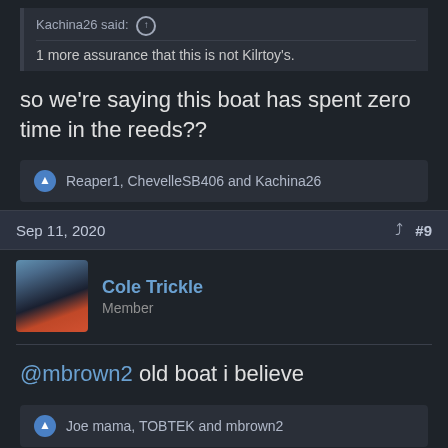Kachina26 said: ↑
1 more assurance that this is not Kilrtoy's.
so we're saying this boat has spent zero time in the reeds??
Reaper1, ChevelleSB406 and Kachina26
Sep 11, 2020  #9
Cole Trickle
Member
@mbrown2 old boat i believe
Joe mama, TOBTEK and mbrown2